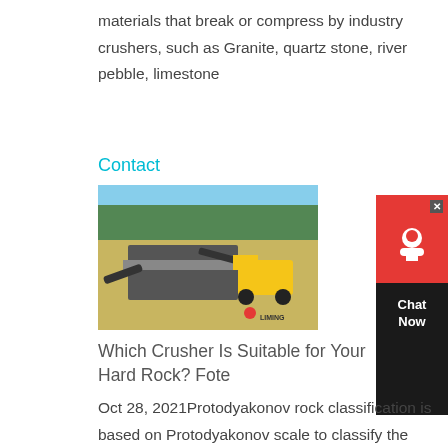materials that break or compress by industry crushers, such as Granite, quartz stone, river pebble, limestone
Contact
[Figure (photo): Industrial crusher machine operating at a quarry site with a yellow loader in background and forest treeline, Liming brand logo visible]
Which Crusher Is Suitable for Your Hard Rock? Fote
Oct 28, 2021Protodyakonov rock classification is based on Protodyakonov scale to classify the hard rock and soft rock. f = 15-20: Extremely strong rocks, such as very strong granite, limestone, quartzite, etc. f = 8-10: Strong rocks, such as strong granite, strong sandstone, etc. f = 4-6: